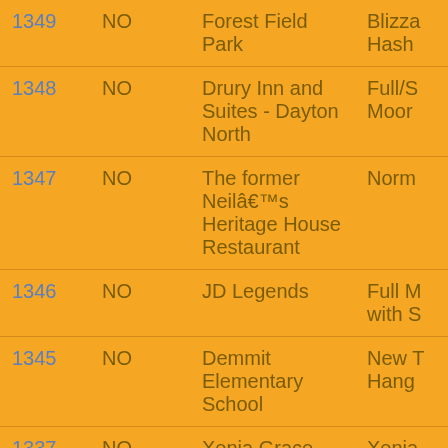| ID | Column2 | Location | Detail |
| --- | --- | --- | --- |
| 1349 | NO | Forest Field Park | Blizza... Hash... |
| 1348 | NO | Drury Inn and Suites - Dayton North | Full/S... Moor... |
| 1347 | NO | The former Neilâ€™s Heritage House Restaurant | Norm... |
| 1346 | NO | JD Legends | Full M... with S... |
| 1345 | NO | Demmit Elementary School | New ... Hang... |
| 1337 | NO | Xenia Grace Church | Xenia... |
| 1336 | NO | Oregon District | Nood... 50/40... Pub C... |
| 1335 | NO | Ron Kehl Park | Chris... |
| 1334 | NO | Deweese Park | Moor... |